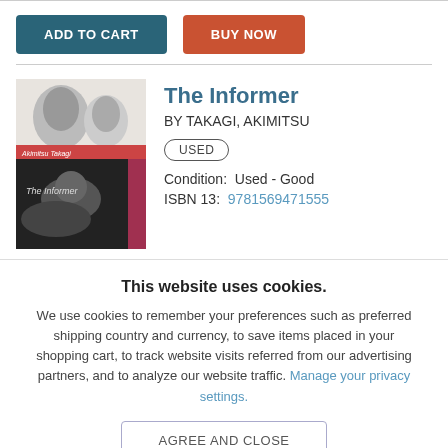ADD TO CART | BUY NOW
[Figure (photo): Book cover of 'The Informer' by Akimitsu Takagi, showing black and white portrait images and title text]
The Informer
BY TAKAGI, AKIMITSU
USED
Condition:  Used - Good
ISBN 13:  9781569471555
This website uses cookies.
We use cookies to remember your preferences such as preferred shipping country and currency, to save items placed in your shopping cart, to track website visits referred from our advertising partners, and to analyze our website traffic. Manage your privacy settings.
AGREE AND CLOSE